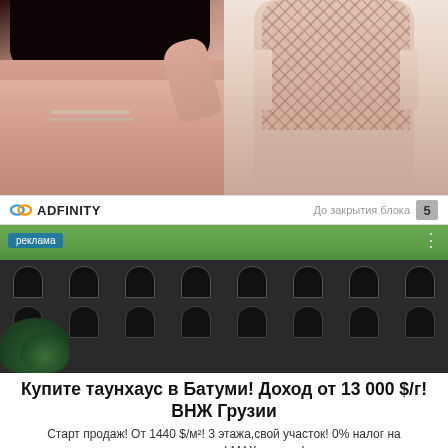[Figure (photo): Two fashion/lifestyle photos side by side: left shows a woman with jewelry, right shows a woman in a patterned swimsuit/bodysuit]
[Figure (infographic): Adfinity ad network bar with logo, 'До закрытия блока' text and countdown '5']
[Figure (photo): Advertisement image showing a multi-story building with arched windows and green trees, labeled 'реклама']
Купите таунхаус в Батуми! Доход от 13 000 $/г! ВНЖ Грузии
Старт продаж! От 1440 $/м²! 3 этажа,свой участок! 0% налог на недвижимость! МАХ выгоды!
eliteriviera.ge